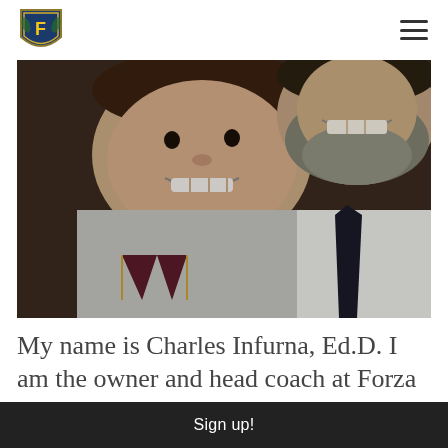Forza Athletics logo and navigation menu
[Figure (photo): Selfie photo of a smiling young child in a gray hoodie with a maroon logo, and a bearded man in a white dress shirt and dark tie, both smiling at the camera.]
My name is Charles Infurna, Ed.D. I am the owner and head coach at Forza
Sign up!